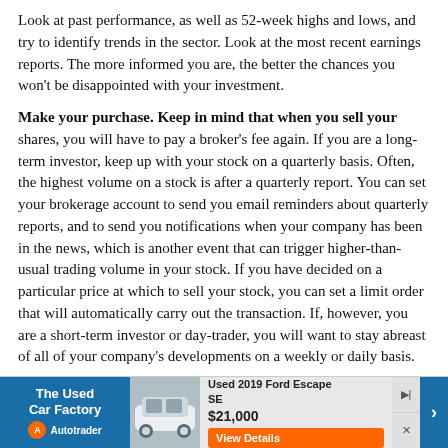Look at past performance, as well as 52-week highs and lows, and try to identify trends in the sector. Look at the most recent earnings reports. The more informed you are, the better the chances you won't be disappointed with your investment.
Make your purchase. Keep in mind that when you sell your shares, you will have to pay a broker's fee again. If you are a long-term investor, keep up with your stock on a quarterly basis. Often, the highest volume on a stock is after a quarterly report. You can set your brokerage account to send you email reminders about quarterly reports, and to send you notifications when your company has been in the news, which is another event that can trigger higher-than-usual trading volume in your stock. If you have decided on a particular price at which to sell your stock, you can set a limit order that will automatically carry out the transaction. If, however, you are a short-term investor or day-trader, you will want to stay abreast of all of your company's developments on a weekly or daily basis.
[Figure (infographic): Advertisement banner for The Used Car Factory on Autotrader showing a Used 2019 Ford Escape SE for $21,000 with a View Details button and car image.]